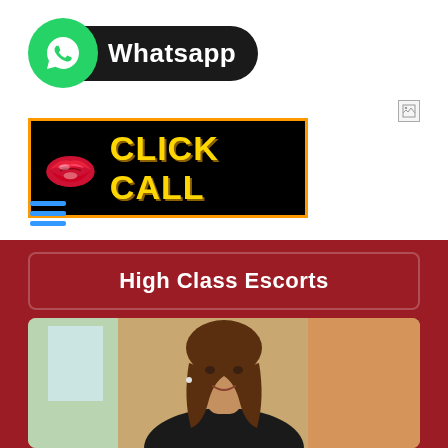[Figure (logo): WhatsApp logo badge with green circle icon and dark pill-shaped label reading Whatsapp]
[Figure (logo): Click Call banner: black background with orange border, red lips icon on left, yellow bold text CLICK CALL]
[Figure (other): Hamburger menu icon with three blue horizontal lines]
High Class Escorts
[Figure (photo): Portrait photo of a smiling woman with long brown wavy hair, wearing dark clothing, indoor setting]